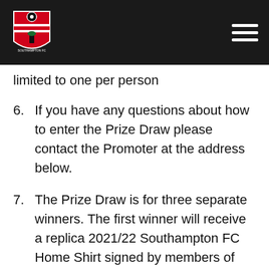Southampton FC header with logo and hamburger menu
limited to one per person
6. If you have any questions about how to enter the Prize Draw please contact the Promoter at the address below.
7. The Prize Draw is for three separate winners. The first winner will receive a replica 2021/22 Southampton FC Home Shirt signed by members of the Southampton FC Men's first team, the second winner will receive a general admission family ticket to a Southampton FC Men's home game during the 22/23 Season (2 adults/ 2 children) (please note that the Promoter will